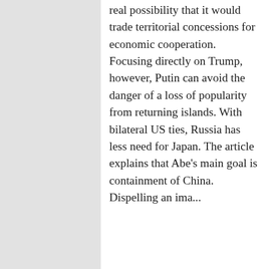real possibility that it would trade territorial concessions for economic cooperation. Focusing directly on Trump, however, Putin can avoid the danger of a loss of popularity from returning islands. With bilateral US ties, Russia has less need for Japan. The article explains that Abe's main goal is containment of China. Dispelling an ima...